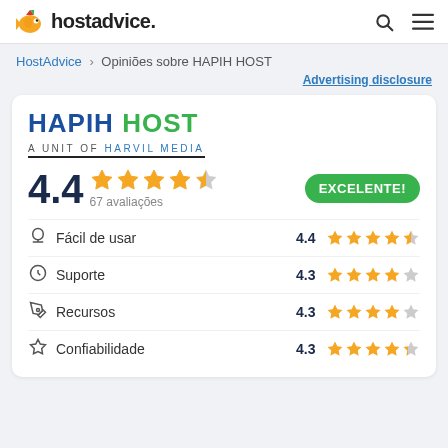[Figure (logo): HostAdvice logo with fish mascot and bold text 'hostadvice.']
HostAdvice > Opiniões sobre HAPIH HOST
Advertising disclosure
[Figure (logo): HAPIH HOST logo - HAPIH in blue, HOST in green, subtitle 'A UNIT OF HARVIL MEDIA']
4.4 ★★★★☆ 67 avaliações EXCELENTE!
Fácil de usar 4.4 ★★★★½
Suporte 4.3 ★★★★½
Recursos 4.3 ★★★★½
Confiabilidade 4.3 ★★★★